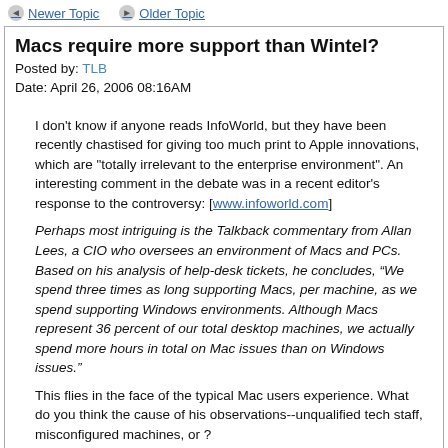Newer Topic   Older Topic
Macs require more support than Wintel?
Posted by: TLB
Date: April 26, 2006 08:16AM
I don't know if anyone reads InfoWorld, but they have been recently chastised for giving too much print to Apple innovations, which are "totally irrelevant to the enterprise environment". An interesting comment in the debate was in a recent editor's response to the controversy: [www.infoworld.com]
Perhaps most intriguing is the Talkback commentary from Allan Lees, a CIO who oversees an environment of Macs and PCs. Based on his analysis of help-desk tickets, he concludes, “We spend three times as long supporting Macs, per machine, as we spend supporting Windows environments. Although Macs represent 36 percent of our total desktop machines, we actually spend more hours in total on Mac issues than on Windows issues.”
This flies in the face of the typical Mac users experience. What do you think the cause of his observations--unqualified tech staff, misconfigured machines, or ?
Options: Reply • Quote
Re: Macs require more support than Wintel?
Posted by: Jem
Date: April 26, 2006 08:26AM